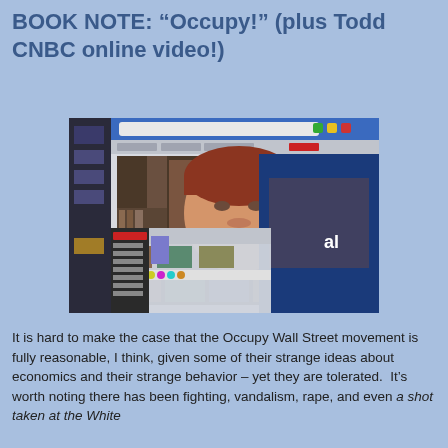BOOK NOTE: “Occupy!” (plus Todd CNBC online video!)
[Figure (screenshot): Screenshot of a video call or online video interface showing a man with red/auburn hair on camera, with additional smaller video thumbnails visible below, and a dark blue panel on the right side.]
It is hard to make the case that the Occupy Wall Street movement is fully reasonable, I think, given some of their strange ideas about economics and their strange behavior – yet they are tolerated.  It’s worth noting there has been fighting, vandalism, rape, and even a shot taken at the White House by the Occupy crowd, ideas about 1 year...